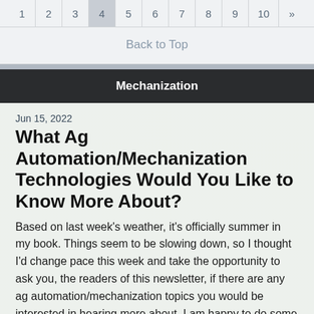1 2 3 4 5 6 7 8 9 10 »
Back to Top
Mechanization
Jun 15, 2022
What Ag Automation/Mechanization Technologies Would You Like to Know More About?
Based on last week's weather, it's officially summer in my book. Things seem to be slowing down, so I thought I'd change pace this week and take the opportunity to ask you, the readers of this newsletter, if there are any ag automation/mechanization topics you would be interested in hearing more about. I am happy to do some research